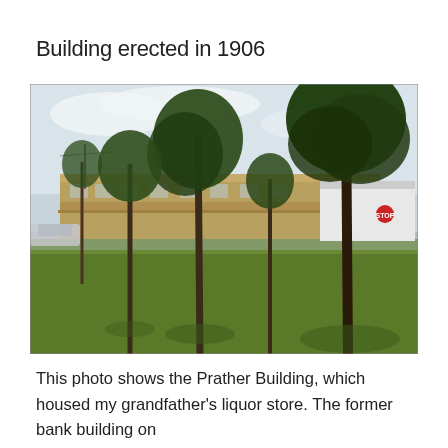Building erected in 1906
[Figure (photo): Outdoor photograph showing the Prather Building, a low commercial structure with a covered porch/awning, seen from across a grassy park area with large trees in the foreground. A white building is visible to the right along with a stop sign. A car is partially visible on the left.]
This photo shows the Prather Building, which housed my grandfather's liquor store. The former bank building on